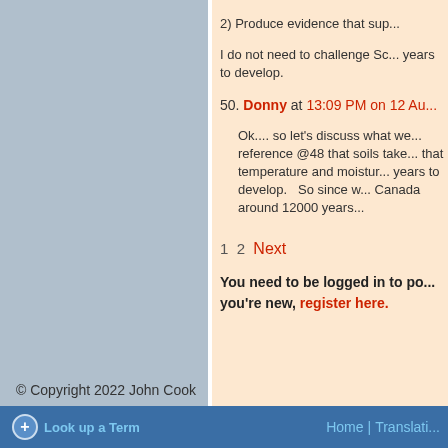2) Produce evidence that sup...
I do not need to challenge Sc... years to develop.
50. Donny at 13:09 PM on 12 Au...
Ok.... so let's discuss what we... reference @48 that soils take... that temperature and moistur... years to develop.   So since w... Canada around 12000 years...
1  2  Next
You need to be logged in to po... you're new, register here.
© Copyright 2022 John Cook
Look up a Term  |  Home  |  Translati...